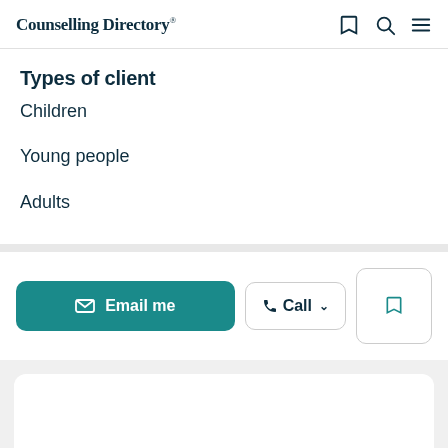Counselling Directory
Types of client
Children
Young people
Adults
Email me
Call
[Figure (screenshot): White card/panel at the bottom of the page on a light grey background]